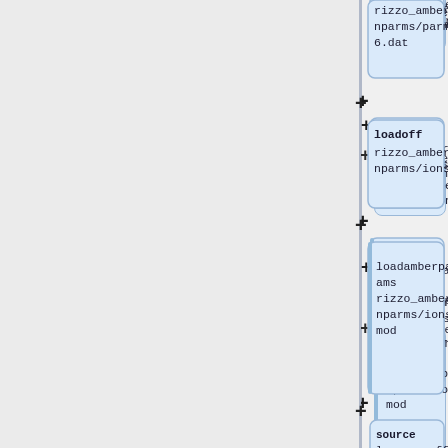[Figure (flowchart): Flowchart showing a vertical sequence of command nodes connected by plus signs. Nodes contain commands: 'rizzo_amber7.ionparms/parm.e16.dat', 'loadoff rizzo_amber7.ionparms/ions.lib', 'loadamberparams rizzo_amber7.ionparms/ions.frcmod', 'source leaprc.gaff', 'loadamberparams rizzo_amber7.ionparms/gaff.dat.rizzo'. A vertical divider line separates the left blank panel from the right node column.]